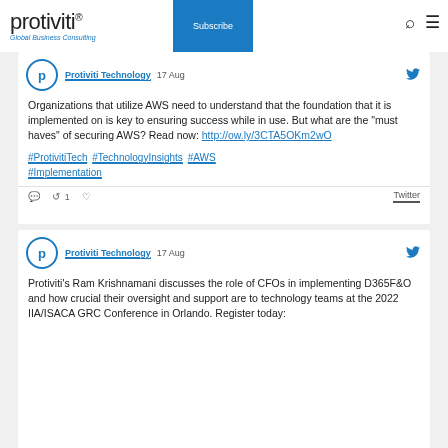protiviti® Global Business Consulting | Subscribe
Protiviti Technology 17 Aug
Organizations that utilize AWS need to understand that the foundation that it is implemented on is key to ensuring success while in use. But what are the "must haves" of securing AWS? Read now: http://ow.ly/3CTA5OKm2wO
#ProtivitiTech #TechnologyInsights #AWS #Implementation
Twitter
Protiviti Technology 17 Aug
Protiviti's Ram Krishnamani discusses the role of CFOs in implementing D365F&O and how crucial their oversight and support are to technology teams at the 2022 IIA/ISACA GRC Conference in Orlando. Register today: